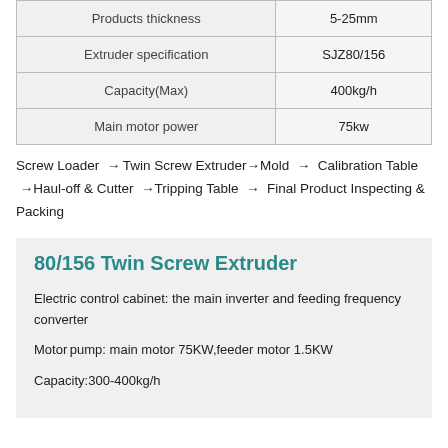|  |  |
| --- | --- |
| Products thickness | 5-25mm |
| Extruder specification | SJZ80/156 |
| Capacity(Max) | 400kg/h |
| Main motor power | 75kw |
Screw Loader → Twin Screw Extruder→Mold → Calibration Table →Haul-off & Cutter →Tripping Table → Final Product Inspecting & Packing
80/156 Twin Screw Extruder
Electric control cabinet: the main inverter and feeding frequency converter
Motor pump: main motor 75KW,feeder motor 1.5KW
Capacity:300-400kg/h